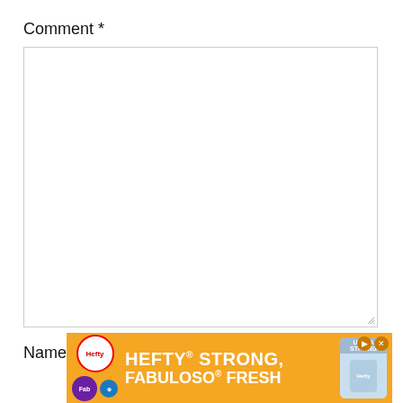Comment *
[Figure (screenshot): Empty comment textarea input box with resize handle at bottom-right]
Name *
[Figure (screenshot): Advertisement banner: Hefty STRONG, FABULOSO FRESH with orange background, Hefty and Fabuloso logos, product image, and close/navigate controls]